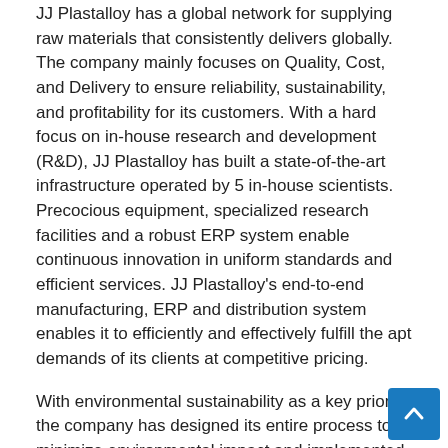JJ Plastalloy has a global network for supplying raw materials that consistently delivers globally. The company mainly focuses on Quality, Cost, and Delivery to ensure reliability, sustainability, and profitability for its customers. With a hard focus on in-house research and development (R&D), JJ Plastalloy has built a state-of-the-art infrastructure operated by 5 in-house scientists. Precocious equipment, specialized research facilities and a robust ERP system enable continuous innovation in uniform standards and efficient services. JJ Plastalloy's end-to-end manufacturing, ERP and distribution system enables it to efficiently and effectively fulfill the apt demands of its clients at competitive pricing.
With environmental sustainability as a key priority, the company has designed its entire process to minimize environmental impact and implemented several initiatives for reducing its carbon footprint. Following thorough recycling and waste allocation process, the minimum waste is disposed of
“How wonderful it is that nobody waits a single moment before